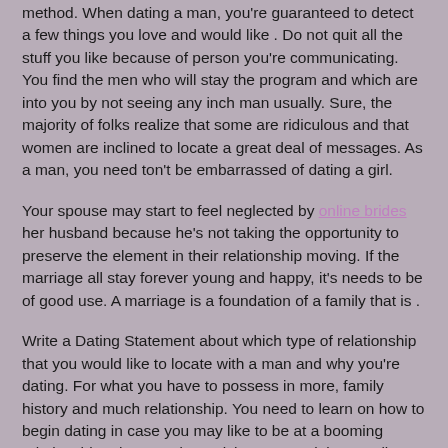method. When dating a man, you're guaranteed to detect a few things you love and would like . Do not quit all the stuff you like because of person you're communicating. You find the men who will stay the program and which are into you by not seeing any inch man usually. Sure, the majority of folks realize that some are ridiculous and that women are inclined to locate a great deal of messages. As a man, you need ton't be embarrassed of dating a girl.
Your spouse may start to feel neglected by online brides her husband because he's not taking the opportunity to preserve the element in their relationship moving. If the marriage all stay forever young and happy, it's needs to be of good use. A marriage is a foundation of a family that is .
Write a Dating Statement about which type of relationship that you would like to locate with a man and why you're dating. For what you have to possess in more, family history and much relationship. You need to learn on how to begin dating in case you may like to be at a booming relationship. That you don't wish to go stuck in an online relationship. It is not tough to feel when you're in a internet relationship relaxed as you will possibly be